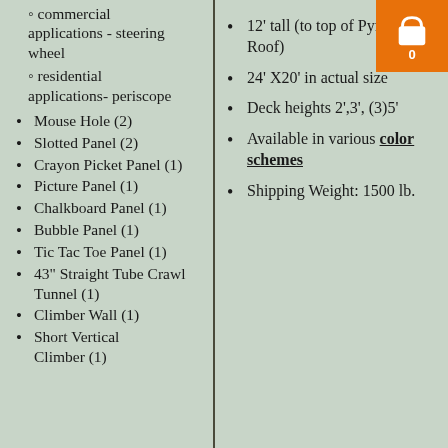◦commercial applications - steering wheel
◦residential applications- periscope
Mouse Hole (2)
Slotted Panel (2)
Crayon Picket Panel (1)
Picture Panel (1)
Chalkboard Panel (1)
Bubble Panel (1)
Tic Tac Toe Panel (1)
43" Straight Tube Crawl Tunnel (1)
Climber Wall (1)
Short Vertical Climber (1)
12' tall (to top of Pyramid Roof)
24' X20' in actual size
Deck heights 2',3', (3)5'
Available in various color schemes
Shipping Weight: 1500 lb.